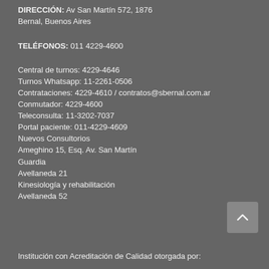DIRECCIÓN: Av San Martín 572, 1876
Bernal, Buenos Aires
TELÉFONOS: 011 4229-4600
Central de turnos: 4229-4646
Turnos Whatsapp: 11-2261-0506
Contrataciones: 4229-4610 / contratos@sbernal.com.ar
Conmutador: 4229-4600
Teleconsulta: 11-3202-7037
Portal paciente: 011-4229-4609
Nuevos Consultorios
Ameghino 15, Esq. Av. San Martín
Guardia
Avellaneda 21
Kinesiología y rehabilitación
Avellaneda 52
Institución con Acreditación de Calidad otorgada por: